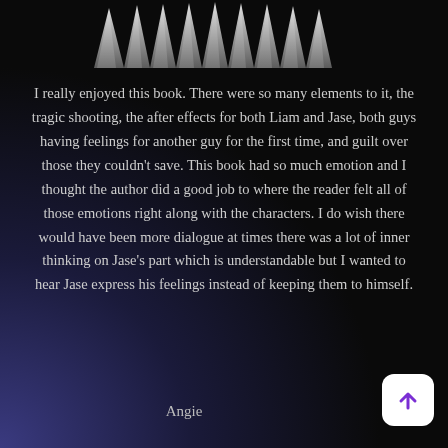[Figure (illustration): Silver metallic spikes/crown decorative element at the top of the page]
I really enjoyed this book. There were so many elements to it, the tragic shooting, the after effects for both Liam and Jase, both guys having feelings for another guy for the first time, and guilt over those they couldn't save. This book had so much emotion and I thought the author did a good job to where the reader felt all of those emotions right along with the characters. I do wish there would have been more dialogue at times there was a lot of inner thinking on Jase's part which is understandable but I wanted to hear Jase express his feelings instead of keeping them to himself.
Angie